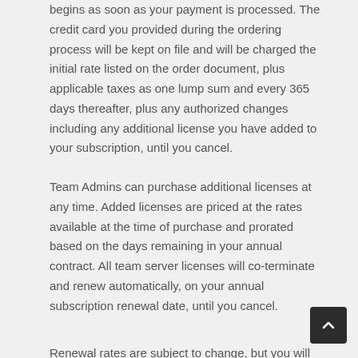begins as soon as your payment is processed. The credit card you provided during the ordering process will be kept on file and will be charged the initial rate listed on the order document, plus applicable taxes as one lump sum and every 365 days thereafter, plus any authorized changes including any additional license you have added to your subscription, until you cancel.
Team Admins can purchase additional licenses at any time. Added licenses are priced at the rates available at the time of purchase and prorated based on the days remaining in your annual contract. All team server licenses will co-terminate and renew automatically, on your annual subscription renewal date, until you cancel.
Renewal rates are subject to change, but you will